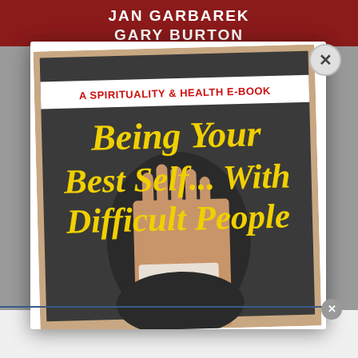[Figure (screenshot): Screenshot of a website/browser showing a modal dialog popup over a background page. The background shows a dark red header with text 'JAN GARBAREK GARY BURTON' in white. The modal contains an e-book cover image for 'Being Your Best Self... With Difficult People' - A Spirituality & Health E-Book, with yellow bold text over a dark background showing a woman with her hand raised. A close (X) button appears in the top-right of the modal. Below the modal is a white area and a light gray footer area with a blue separator line.]